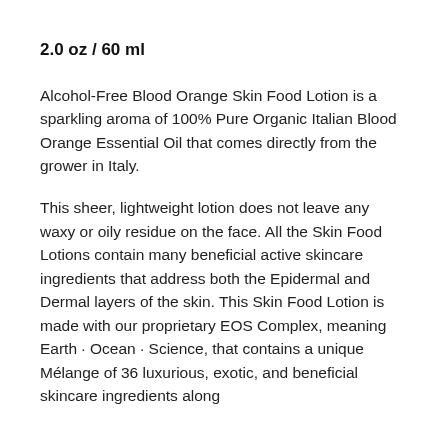2.0 oz / 60 ml
Alcohol-Free Blood Orange Skin Food Lotion is a sparkling aroma of 100% Pure Organic Italian Blood Orange Essential Oil that comes directly from the grower in Italy.
This sheer, lightweight lotion does not leave any waxy or oily residue on the face. All the Skin Food Lotions contain many beneficial active skincare ingredients that address both the Epidermal and Dermal layers of the skin. This Skin Food Lotion is made with our proprietary EOS Complex, meaning Earth · Ocean · Science, that contains a unique Mélange of 36 luxurious, exotic, and beneficial skincare ingredients along